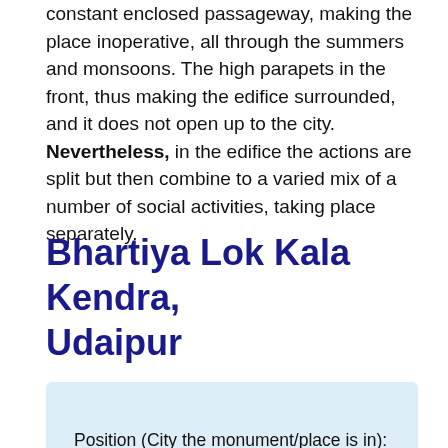constant enclosed passageway, making the place inoperative, all through the summers and monsoons. The high parapets in the front, thus making the edifice surrounded, and it does not open up to the city. Nevertheless, in the edifice the actions are split but then combine to a varied mix of a number of social activities, taking place separately.
Bhartiya Lok Kala Kendra, Udaipur
Entree Fee: Yes (Adult- RS 25, Children – RS 15 and Foreigners – RS 40)
Position (City the monument/place is in):